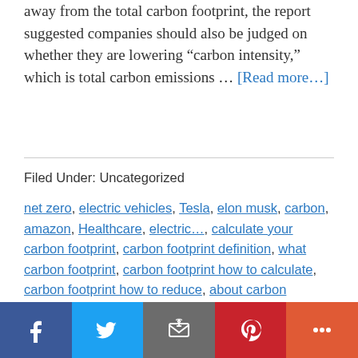away from the total carbon footprint, the report suggested companies should also be judged on whether they are lowering “carbon intensity,” which is total carbon emissions … [Read more…]
Filed Under: Uncategorized
net zero, electric vehicles, Tesla, elon musk, carbon, amazon, Healthcare, electric…, calculate your carbon footprint, carbon footprint definition, what carbon footprint, carbon footprint how to calculate, carbon footprint how to reduce, about carbon footprint, reducing carbon footprint, reducing my carbon footprint, reducing your carbon footprint, measure your
Social share bar: Facebook, Twitter, Email, Pinterest, More